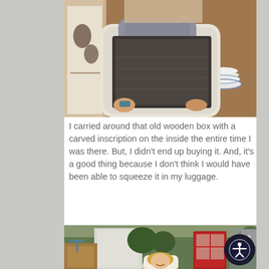[Figure (photo): Person in white winter coat and grey scarf carrying a large old wooden box/case inside a shop]
I carried around that old wooden box with a carved inscription on the inside the entire time I was there. But, I didn't end up buying it. And, it's a good thing because I don't think I would have been able to squeeze it in my luggage.
[Figure (photo): Smiling woman with blonde hair in white coat standing outside a shop with red door and greenery decorations]